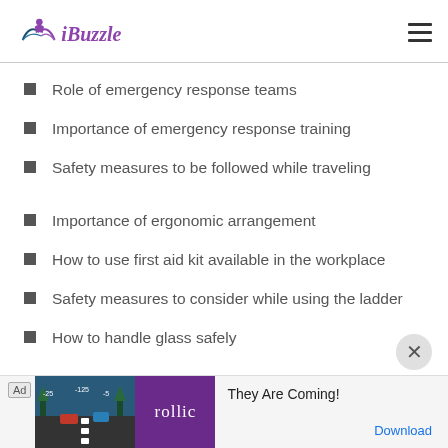iBuzzle
Role of emergency response teams
Importance of emergency response training
Safety measures to be followed while traveling
Importance of ergonomic arrangement
How to use first aid kit available in the workplace
Safety measures to consider while using the ladder
How to handle glass safely
[Figure (screenshot): Advertisement banner at the bottom: 'They Are Coming!' rollic game ad with Download link]